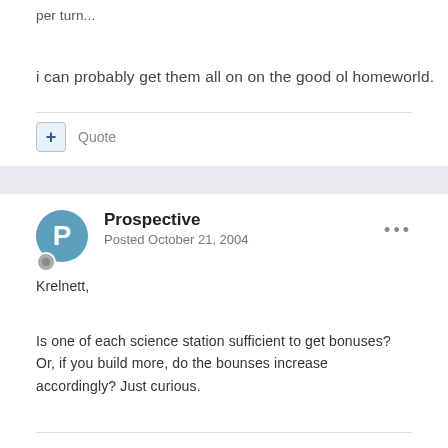per turn...
i can probably get them all on on the good ol homeworld.
+ Quote
Prospective
Posted October 21, 2004
Krelnett,
Is one of each science station sufficient to get bonuses? Or, if you build more, do the bounses increase accordingly? Just curious.